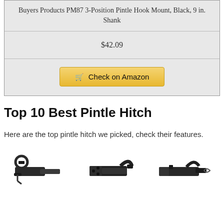| Buyers Products PM87 3-Position Pintle Hook Mount, Black, 9 in. Shank |
| $42.09 |
| Check on Amazon |
Top 10 Best Pintle Hitch
Here are the top pintle hitch we picked, check their features.
[Figure (photo): Three pintle hitch product images shown side by side at the bottom of the page]